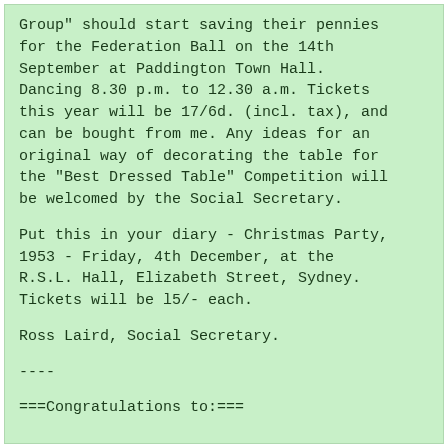Group" should start saving their pennies for the Federation Ball on the 14th September at Paddington Town Hall. Dancing 8.30 p.m. to 12.30 a.m. Tickets this year will be 17/6d. (incl. tax), and can be bought from me. Any ideas for an original way of decorating the table for the "Best Dressed Table" Competition will be welcomed by the Social Secretary.
Put this in your diary - Christmas Party, 1953 - Friday, 4th December, at the R.S.L. Hall, Elizabeth Street, Sydney. Tickets will be l5/- each.
Ross Laird, Social Secretary.
----
===Congratulations to:===